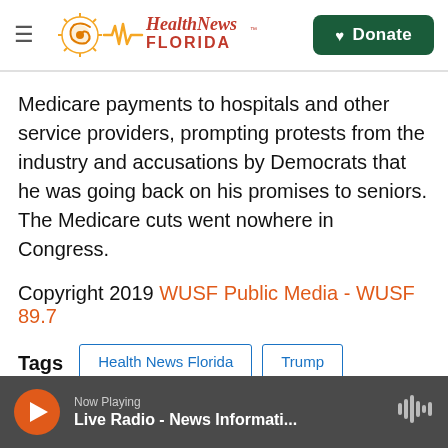Health News Florida — Donate
Medicare payments to hospitals and other service providers, prompting protests from the industry and accusations by Democrats that he was going back on his promises to seniors. The Medicare cuts went nowhere in Congress.
Copyright 2019 WUSF Public Media - WUSF 89.7
Tags: Health News Florida, Trump, The Villages, Medicare, AARP Medicare Advantage
Now Playing — Live Radio - News Informati...